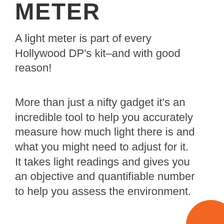METER
A light meter is part of every Hollywood DP’s kit–and with good reason!
More than just a nifty gadget it’s an incredible tool to help you accurately measure how much light there is and what you might need to adjust for it. It takes light readings and gives you an objective and quantifiable number to help you assess the environment.
[Figure (illustration): Orange circle decorative element in bottom-right corner]